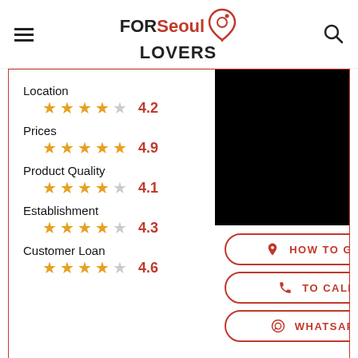FOR Seoul LOVERS [logo with map pin]
Location
★★★★☆ 4.2
Prices
★★★★★ 4.9
Product Quality
★★★★☆ 4.1
Establishment
★★★★☆ 4.3
Customer Loan
★★★★☆ 4.6
[Figure (photo): Black/dark image placeholder]
HOW TO GET
TO CALL
WHATSAPP